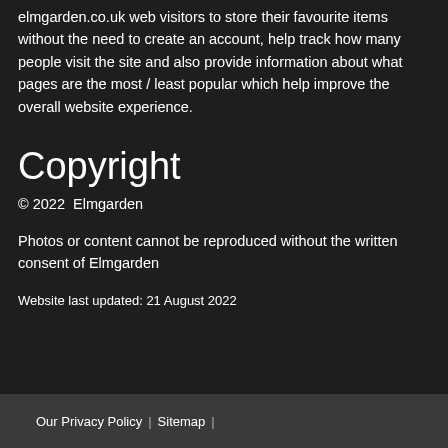elmgarden.co.uk web visitors to store their favourite items without the need to create an account, help track how many people visit the site and also provide information about what pages are the most / least popular which help improve the overall website experience.
Copyright
© 2022  Elmgarden
Photos or content cannot be reproduced without the written consent of Elmgarden
Website last updated: 21 August 2022
Our Privacy Policy |  Sitemap |